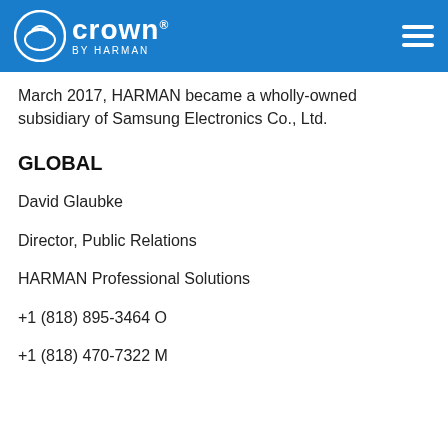Crown by HARMAN
March 2017, HARMAN became a wholly-owned subsidiary of Samsung Electronics Co., Ltd.
GLOBAL
David Glaubke
Director, Public Relations
HARMAN Professional Solutions
+1 (818) 895-3464 O
+1 (818) 470-7322 M